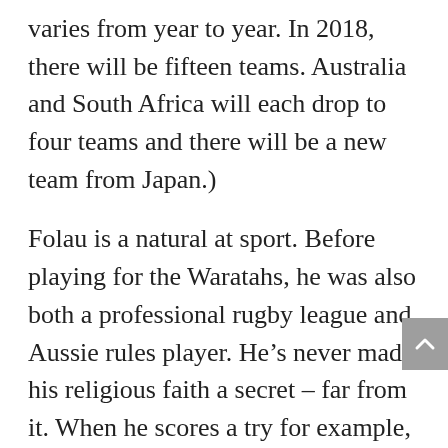varies from year to year. In 2018, there will be fifteen teams. Australia and South Africa will each drop to four teams and there will be a new team from Japan.)
Folau is a natural at sport. Before playing for the Waratahs, he was also both a professional rugby league and Aussie rules player. He’s never made his religious faith a secret – far from it. When he scores a try for example, he always celebrates by thanking God and often tweets a pic of himself doing that along with hashtags also giving his thanks to the Almighty.